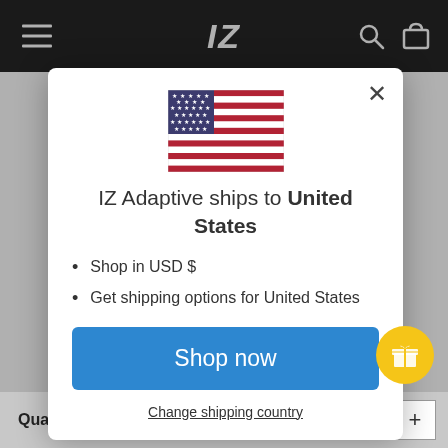IZ (navigation bar with logo, hamburger menu, search and cart icons)
[Figure (screenshot): US flag emoji/icon displayed in modal dialog]
IZ Adaptive ships to United States
Shop in USD $
Get shipping options for United States
Shop now
Change shipping country
Quantity
1